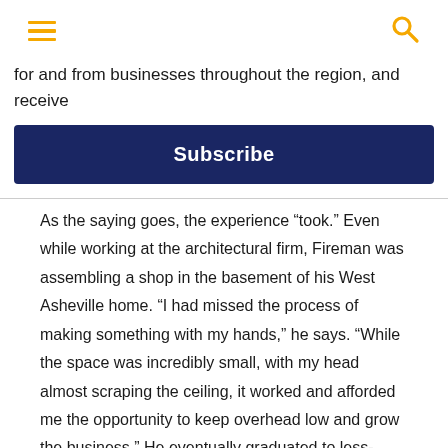for and from businesses throughout the region, and receive
Subscribe
As the saying goes, the experience “took.” Even while working at the architectural firm, Fireman was assembling a shop in the basement of his West Asheville home. “I had missed the process of making something with my hands,” he says. “While the space was incredibly small, with my head almost scraping the ceiling, it worked and afforded me the opportunity to keep overhead low and grow the business.” He eventually graduated to less-cramped digs, purchasing a